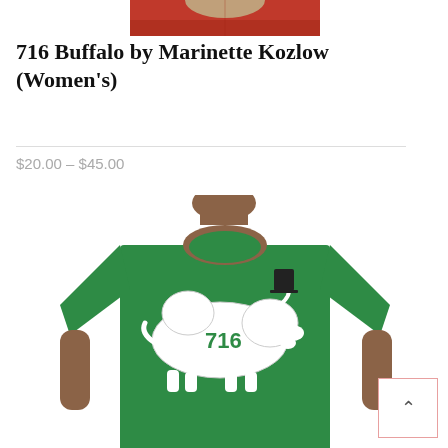[Figure (photo): Partial view of a person wearing a red shirt, cropped at the top of the page.]
716 Buffalo by Marinette Kozlow (Women's)
$20.00 – $45.00
[Figure (photo): Person wearing a green t-shirt featuring a white buffalo/bison silhouette with '716' text and a black top hat, photographed from chin to waist.]